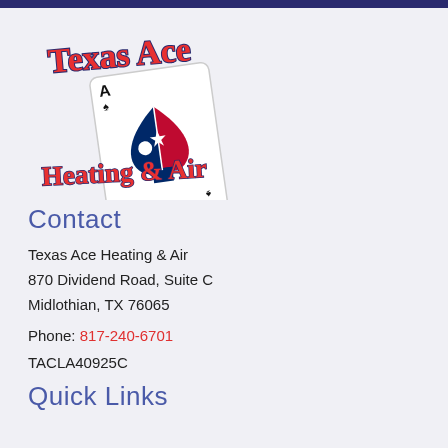[Figure (logo): Texas Ace Heating & Air logo featuring script text 'Texas Ace' in red with blue outline at top, playing card (ace of spades) with Texas flag colored spade symbol in center, and 'Heating & Air' in red script below]
Contact
Texas Ace Heating & Air
870 Dividend Road, Suite C
Midlothian, TX 76065
Phone: 817-240-6701
TACLA40925C
Quick Links